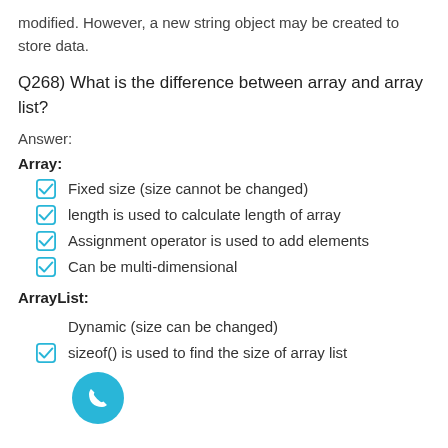modified. However, a new string object may be created to store data.
Q268) What is the difference between array and array list?
Answer:
Array:
Fixed size (size cannot be changed)
length is used to calculate length of array
Assignment operator is used to add elements
Can be multi-dimensional
ArrayList:
Dynamic (size can be changed)
sizeof() is used to find the size of array list